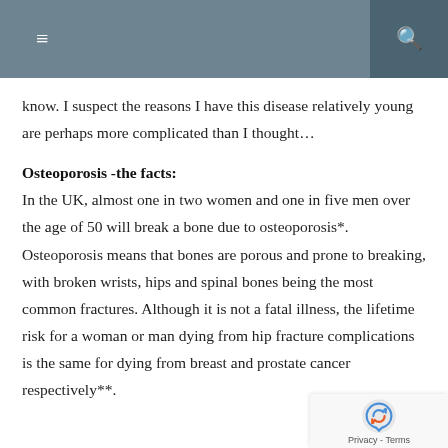≡  🔍
know. I suspect the reasons I have this disease relatively young are perhaps more complicated than I thought...
Osteoporosis -the facts:
In the UK, almost one in two women and one in five men over the age of 50 will break a bone due to osteoporosis*. Osteoporosis means that bones are porous and prone to breaking, with broken wrists, hips and spinal bones being the most common fractures. Although it is not a fatal illness, the lifetime risk for a woman or man dying from hip fracture complications is the same for dying from breast and prostate cancer respectively**.